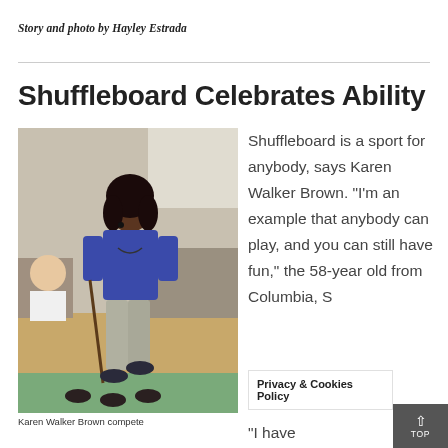Story and photo by Hayley Estrada
Shuffleboard Celebrates Ability
[Figure (photo): Karen Walker Brown competing at a shuffleboard event indoors, wearing a blue top and grey capri pants, using a cue stick, with other participants visible in the background.]
Karen Walker Brown compete
Shuffleboard is a sport for anybody, says Karen Walker Brown. “I’m an example that anybody can play, and you can still have fun,” the 58-year old from Columbia, SC
Privacy & Cookies Policy
“I have